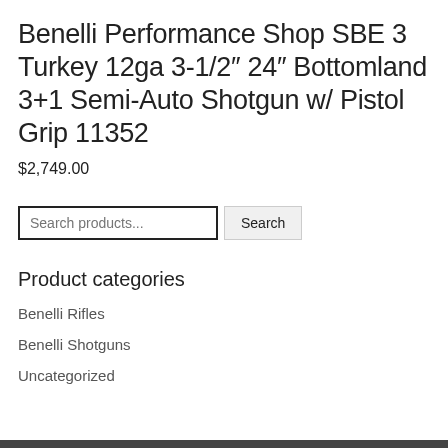Benelli Performance Shop SBE 3 Turkey 12ga 3-1/2″ 24″ Bottomland 3+1 Semi-Auto Shotgun w/ Pistol Grip 11352
$2,749.00
Product categories
Benelli Rifles
Benelli Shotguns
Uncategorized